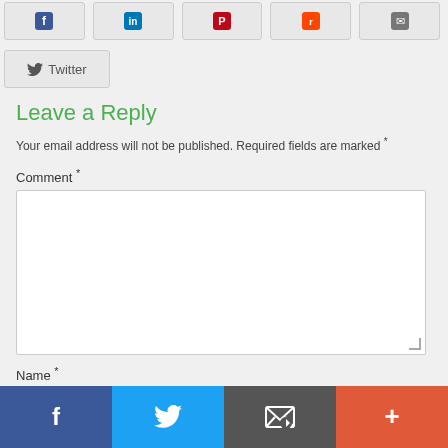[Figure (screenshot): Row of social share buttons (Facebook, LinkedIn, Pinterest, Reddit, Email) partially visible at top]
[Figure (screenshot): Twitter share button with bird icon]
Leave a Reply
Your email address will not be published. Required fields are marked *
Comment *
Name *
[Figure (screenshot): Bottom social sharing bar with Facebook, Twitter, Email, and Plus icons]